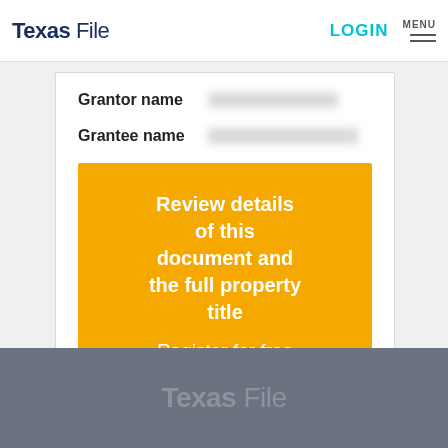Texas File | LOGIN | MENU
Grantor name [redacted]
Grantee name [redacted]
Review details of this document and the full property title
Register for free access
Texas File